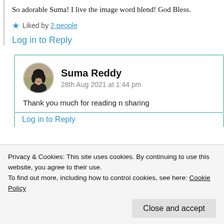So adorable Suma! I live the image word blend! God Bless.
★ Liked by 2 people
Log in to Reply
Suma Reddy
28th Aug 2021 at 1:44 pm
Thank you much for reading n sharing
Log in to Reply
Privacy & Cookies: This site uses cookies. By continuing to use this website, you agree to their use.
To find out more, including how to control cookies, see here: Cookie Policy
Close and accept